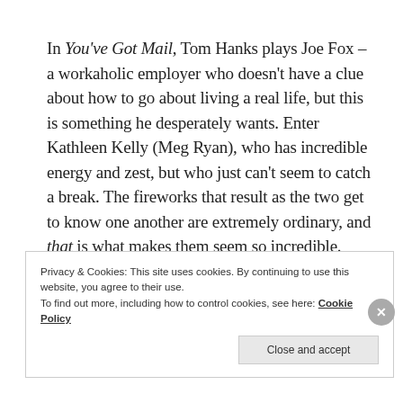In You've Got Mail, Tom Hanks plays Joe Fox – a workaholic employer who doesn't have a clue about how to go about living a real life, but this is something he desperately wants. Enter Kathleen Kelly (Meg Ryan), who has incredible energy and zest, but who just can't seem to catch a break. The fireworks that result as the two get to know one another are extremely ordinary, and that is what makes them seem so incredible. Because the story feels realistic, and attainable.
Privacy & Cookies: This site uses cookies. By continuing to use this website, you agree to their use. To find out more, including how to control cookies, see here: Cookie Policy